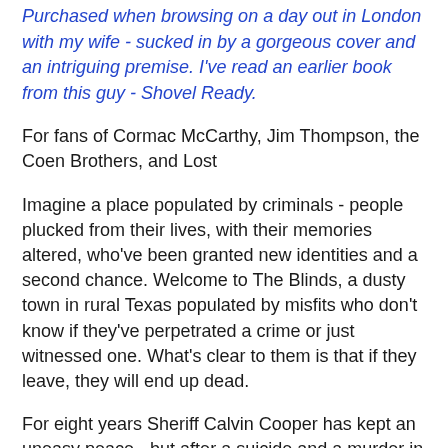Purchased when browsing on a day out in London with my wife - sucked in by a gorgeous cover and an intriguing premise. I've read an earlier book from this guy - Shovel Ready.
For fans of Cormac McCarthy, Jim Thompson, the Coen Brothers, and Lost
Imagine a place populated by criminals - people plucked from their lives, with their memories altered, who've been granted new identities and a second chance. Welcome to The Blinds, a dusty town in rural Texas populated by misfits who don't know if they've perpetrated a crime or just witnessed one. What's clear to them is that if they leave, they will end up dead.
For eight years Sheriff Calvin Cooper has kept an uneasy peace - but after a suicide and a murder in quick succession, the town's residents revolt. Cooper has his own secrets to protect, so when his new deputy starts digging, he needs to keep one step ahead of her - and the mysterious outsiders